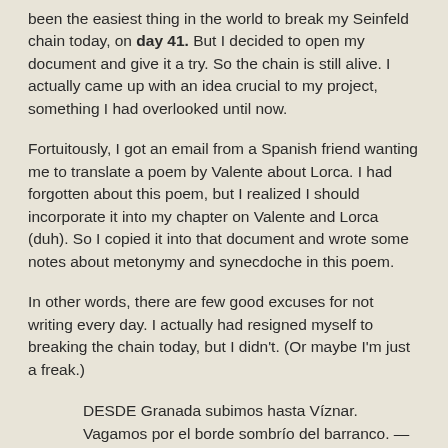been the easiest thing in the world to break my Seinfeld chain today, on day 41. But I decided to open my document and give it a try. So the chain is still alive. I actually came up with an idea crucial to my project, something I had overlooked until now.
Fortuitously, I got an email from a Spanish friend wanting me to translate a poem by Valente about Lorca. I had forgotten about this poem, but I realized I should incorporate it into my chapter on Valente and Lorca (duh). So I copied it into that document and wrote some notes about metonymy and synecdoche in this poem.
In other words, there are few good excuses for not writing every day. I actually had resigned myself to breaking the chain today, but I didn't. (Or maybe I'm just a freak.)
DESDE Granada subimos hasta Víznar.
Vagamos por el borde sombrío del barranco. —
¿Dónde?, decíamos. Era el otoño. Los